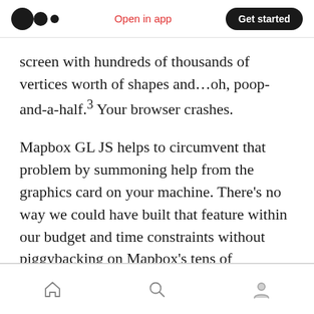Medium logo | Open in app | Get started
screen with hundreds of thousands of vertices worth of shapes and…oh, poop-and-a-half.³ Your browser crashes.
Mapbox GL JS helps to circumvent that problem by summoning help from the graphics card on your machine. There's no way we could have built that feature within our budget and time constraints without piggybacking on Mapbox's tens of thousands of hours of hard, low-level engineering work.
Navigation bar: Home, Search, Profile